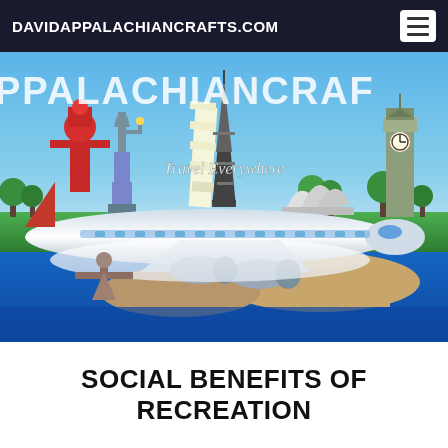DAVIDAPPALACHIANCRAFTS.COM
[Figure (illustration): Travel banner with famous world landmarks including the Statue of Liberty, Eiffel Tower, Leaning Tower of Pisa, Big Ben, and Sydney Opera House, with a large passenger aircraft in the foreground and text 'PPALACHIANCRAF' and 'Travel Everywhere'. Below the airplane is a second image showing Christ the Redeemer and a coastal landscape.]
SOCIAL BENEFITS OF RECREATION